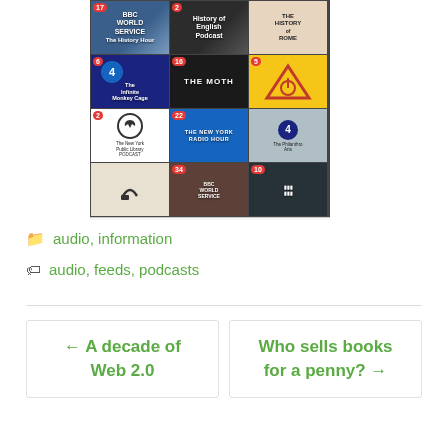[Figure (screenshot): Mobile podcast app screenshot showing a grid of podcast thumbnails including BBC World Service History Hour, History of English Podcast, History of Rome, British Monkey Cage (BBC Radio 4), The Moth, Podcast Herald, New York Public Library Podcast, New York Radio Hour, Philanthropy Arts, and BBC World Service. Bottom navigation bar with Podcasts, Playlists, Playback, Downloads, Settings icons.]
audio, information
audio, feeds, podcasts
← A decade of Web 2.0
Who sells books for a penny? →